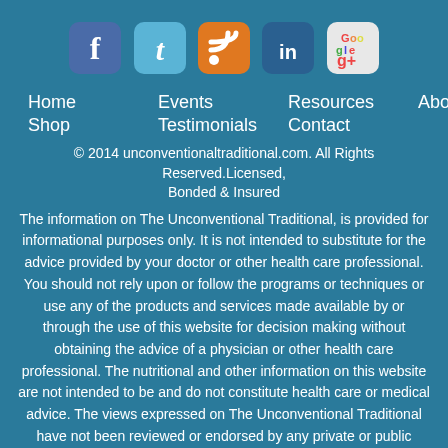[Figure (illustration): Row of five social media icon buttons: Facebook (dark blue rounded square with f), Twitter (light blue rounded square with t), RSS (orange rounded square with wifi/rss symbol), LinkedIn (blue rounded square with in), Google+ (white/red/green rounded square with g+)]
Home   Events   Resources   About
Shop   Testimonials   Contact
© 2014 unconventionaltraditional.com. All Rights Reserved.Licensed, Bonded & Insured
The information on The Unconventional Traditional, is provided for informational purposes only. It is not intended to substitute for the advice provided by your doctor or other health care professional. You should not rely upon or follow the programs or techniques or use any of the products and services made available by or through the use of this website for decision making without obtaining the advice of a physician or other health care professional. The nutritional and other information on this website are not intended to be and do not constitute health care or medical advice. The views expressed on The Unconventional Traditional have not been reviewed or endorsed by any private or public entity.
Privacy Policy